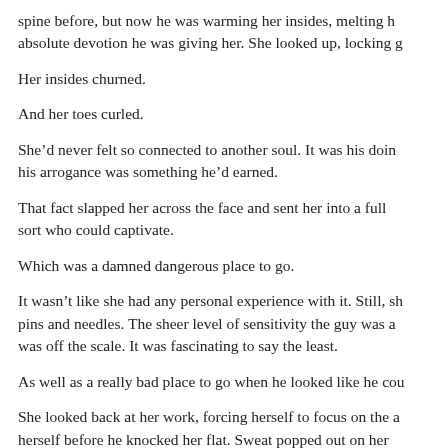spine before, but now he was warming her insides, melting h absolute devotion he was giving her. She looked up, locking g
Her insides churned.
And her toes curled.
She'd never felt so connected to another soul. It was his doin his arrogance was something he'd earned.
That fact slapped her across the face and sent her into a full sort who could captivate.
Which was a damned dangerous place to go.
It wasn't like she had any personal experience with it. Still, sh pins and needles. The sheer level of sensitivity the guy was a was off the scale. It was fascinating to say the least.
As well as a really bad place to go when he looked like he cou
She looked back at her work, forcing herself to focus on the a herself before he knocked her flat. Sweat popped out on her hands responded perfectly. Art was like a living force inside h